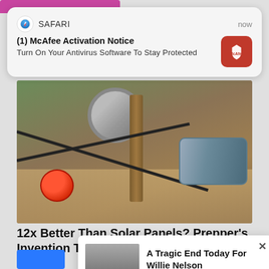[Figure (screenshot): Safari browser notification popup showing McAfee Activation Notice with McAfee red icon]
(1) McAfee Activation Notice
Turn On Your Antivirus Software To Stay Protected
[Figure (photo): Photo of mechanical/electrical components on a wooden surface, including cables, a reel, a motor, and a red ball-shaped component]
12x Better Than Solar Panels? Prepper's Invention Takes United States by Storm!
Power4
[Figure (screenshot): Popup ad overlay showing elderly man, headline A Tragic End Today For Willie Nelson, tag Breaking News, with X close button]
A Tragic End Today For Willie Nelson
Breaking News